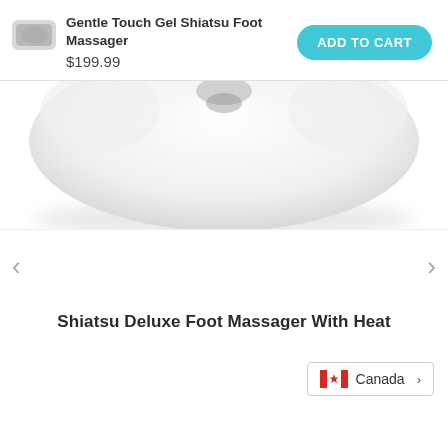[Figure (photo): Small thumbnail image of the Gentle Touch Gel Shiatsu Foot Massager product]
Gentle Touch Gel Shiatsu Foot Massager
$199.99
ADD TO CART
[Figure (photo): White foot massager device viewed from above, partially cropped]
<
>
Shiatsu Deluxe Foot Massager With Heat
Canada >